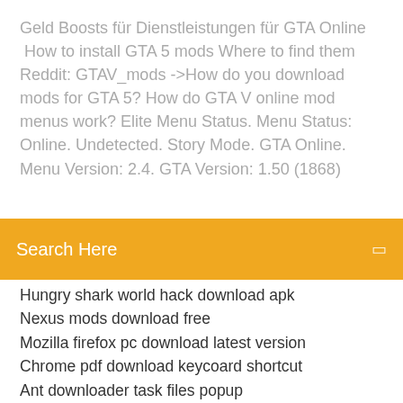Geld Boosts für Dienstleistungen für GTA Online  How to install GTA 5 mods Where to find them Reddit: GTAV_mods ->How do you download mods for GTA 5? How do GTA V online mod menus work? Elite Menu Status. Menu Status: Online. Undetected. Story Mode. GTA Online. Menu Version: 2.4. GTA Version: 1.50 (1868)
[Figure (screenshot): Search bar with orange/yellow background and text 'Search Here' in white, with a small icon on the right]
Hungry shark world hack download apk
Nexus mods download free
Mozilla firefox pc download latest version
Chrome pdf download keycoard shortcut
Ant downloader task files popup
And the mountains echoed full pdf free download
Minecraft cool build map download
Document to pdf converter free download full version
Win rar file download
How to download stop it now audio file